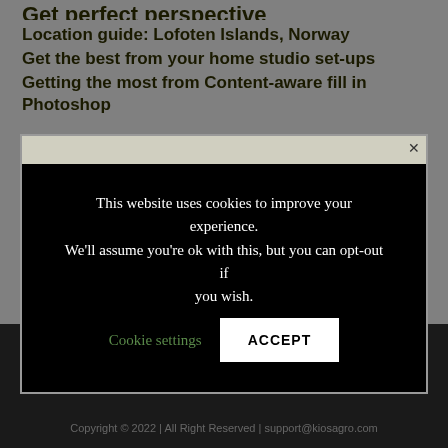Get perfect perspective
Location guide: Lofoten Islands, Norway
Get the best from your home studio set-ups
Getting the most from Content-aware fill in Photoshop
This website uses cookies to improve your experience. We'll assume you're ok with this, but you can opt-out if you wish. Cookie settings ACCEPT
Copyright © 2022 | All Right Reserved | support@kiosagro.com